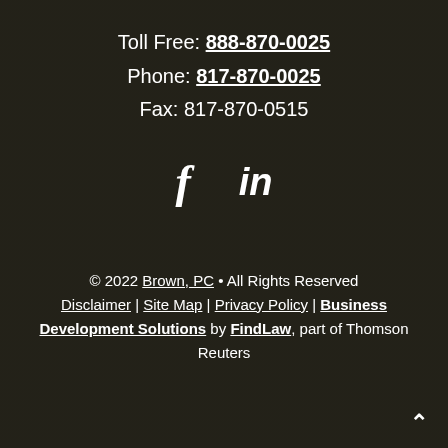Toll Free: 888-870-0025
Phone: 817-870-0025
Fax: 817-870-0515
[Figure (other): Social media icons: Facebook (f) and LinkedIn (in)]
© 2022 Brown, PC • All Rights Reserved
Disclaimer | Site Map | Privacy Policy | Business Development Solutions by FindLaw, part of Thomson Reuters